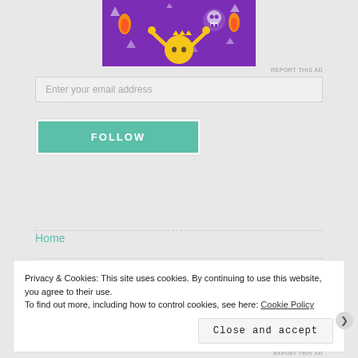[Figure (illustration): Cartoon illustration on purple background: yellow round character with raised arms, flames, skull, geometric shapes]
REPORT THIS AD
Enter your email address
FOLLOW
Home
Privacy & Cookies: This site uses cookies. By continuing to use this website, you agree to their use.
To find out more, including how to control cookies, see here: Cookie Policy
Close and accept
REPORT THIS AD